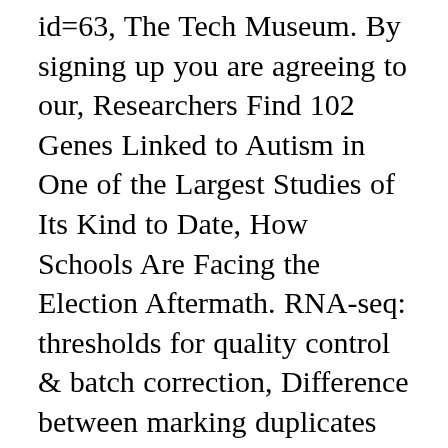id=63, The Tech Museum. By signing up you are agreeing to our, Researchers Find 102 Genes Linked to Autism in One of the Largest Studies of Its Kind to Date, How Schools Are Facing the Election Aftermath. RNA-seq: thresholds for quality control & batch correction, Difference between marking duplicates and filtering BAM on phred score, Question about expected chloroplast coverage, Confused with local blast output – please help. 2008. What is the difference between depth and coverage. Should quality scores be considered when discriminating between optical and library duplicates? if 90% per sample per region are covered at least once and 10% of a sample are not covered